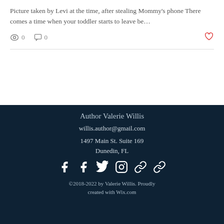Picture taken by Levi at the time, after stealing Mommy's phone There comes a time when your toddler starts to leave be…
0 views · 0 comments · Like
Author Valerie Willis
willis.author@gmail.com
1497 Main St. Suite 169
Dunedin, FL
©2018-2022 by Valerie Willis. Proudly created with Wix.com